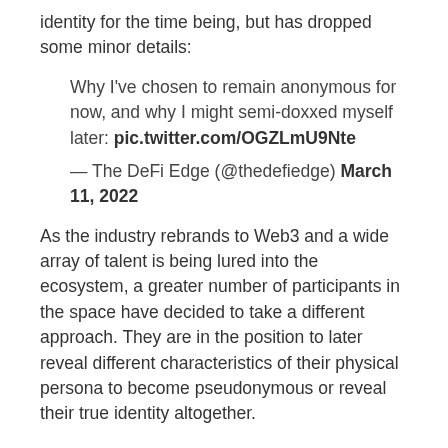identity for the time being, but has dropped some minor details:
Why I've chosen to remain anonymous for now, and why I might semi-doxxed myself later: pic.twitter.com/OGZLmU9Nte
— The DeFi Edge (@thedefiedge) March 11, 2022
As the industry rebrands to Web3 and a wide array of talent is being lured into the ecosystem, a greater number of participants in the space have decided to take a different approach. They are in the position to later reveal different characteristics of their physical persona to become pseudonymous or reveal their true identity altogether.